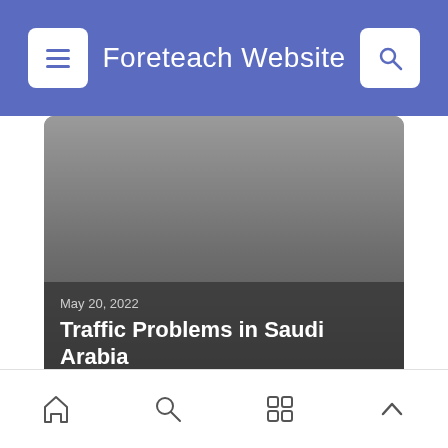Foreteach Website
[Figure (screenshot): Article card with dark gradient overlay showing date May 20, 2022 and title Traffic Problems in Saudi Arabia]
May 20, 2022
Traffic Problems in Saudi Arabia
Home, Search, Grid, Up navigation icons